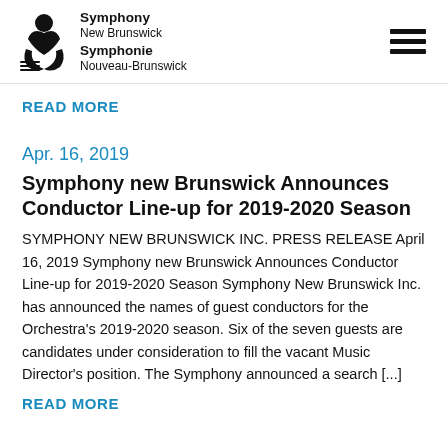Symphony New Brunswick / Symphonie Nouveau-Brunswick
READ MORE
Apr. 16, 2019
Symphony new Brunswick Announces Conductor Line-up for 2019-2020 Season
SYMPHONY NEW BRUNSWICK INC. PRESS RELEASE April 16, 2019 Symphony new Brunswick Announces Conductor Line-up for 2019-2020 Season Symphony New Brunswick Inc. has announced the names of guest conductors for the Orchestra’s 2019-2020 season. Six of the seven guests are candidates under consideration to fill the vacant Music Director’s position. The Symphony announced a search [...]
READ MORE